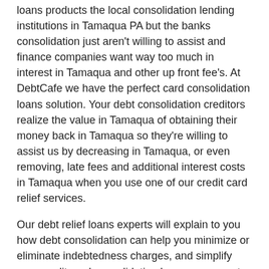loans products the local consolidation lending institutions in Tamaqua PA but the banks consolidation just aren't willing to assist and finance companies want way too much in interest in Tamaqua and other up front fee's. At DebtCafe we have the perfect card consolidation loans solution. Your debt consolidation creditors realize the value in Tamaqua of obtaining their money back in Tamaqua so they're willing to assist us by decreasing in Tamaqua, or even removing, late fees and additional interest costs in Tamaqua when you use one of our credit card relief services.
Our debt relief loans experts will explain to you how debt consolidation can help you minimize or eliminate indebtedness charges, and simplify your credit card consolidation loans repayment with just a single credit consolidation payment each month. If you are from and you need to set up your free consolidation loans analysis, simply complete the FREE debt consolidation form above.
Once the free credit card consolidation loans form above has been completed in Tamaqua PA, you gain access to your very